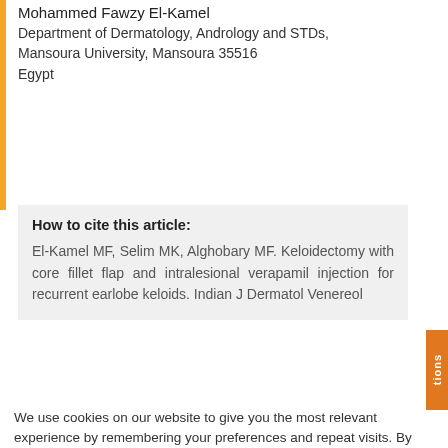Mohammed Fawzy El-Kamel
Department of Dermatology, Andrology and STDs, Mansoura University, Mansoura 35516 Egypt
How to cite this article:
El-Kamel MF, Selim MK, Alghobary MF. Keloidectomy with core fillet flap and intralesional verapamil injection for recurrent earlobe keloids. Indian J Dermatol Venereol
We use cookies on our website to give you the most relevant experience by remembering your preferences and repeat visits. By clicking “Accept”, you consent to the use of ALL the cookies.
Do not sell my personal information.